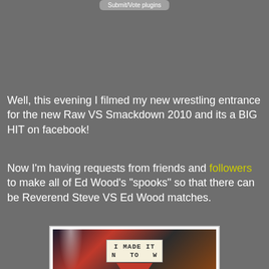Submit/Vote plugins
Well, this evening I filmed my new wrestling entrance for the new Raw VS Smackdown 2010 and its a BIG HIT on facebook!
Now I'm having requests from friends and followers to make all of Ed Wood's "spooks" so that there can be Reverend Steve VS Ed Wood matches.
[Figure (photo): A photo taken at a wrestling event showing a fan holding a handmade sign that reads 'I MADE IT N TO W' with arena lighting and a red arrow graphic.]